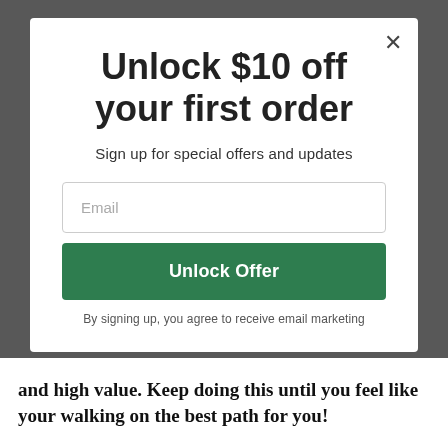Unlock $10 off your first order
Sign up for special offers and updates
Email
Unlock Offer
By signing up, you agree to receive email marketing
and high value. Keep doing this until you feel like your walking on the best path for you!